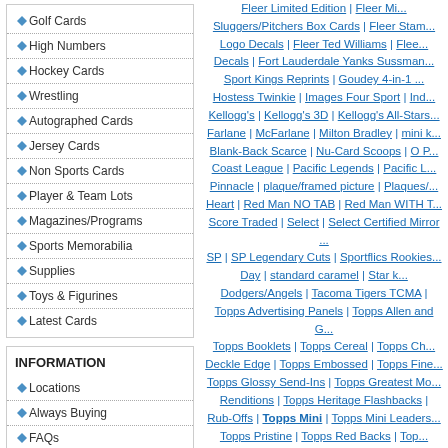Golf Cards
High Numbers
Hockey Cards
Wrestling
Autographed Cards
Jersey Cards
Non Sports Cards
Player & Team Lots
Magazines/Programs
Sports Memorabilia
Supplies
Toys & Figurines
Latest Cards
INFORMATION
Locations
Always Buying
FAQs
How Do We Grade?
Disclaimer
Fleer Limited Edition | Fleer Mi... Sluggers/Pitchers Box Cards | Fleer Stam... Logo Decals | Fleer Ted Williams | Flee... Decals | Fort Lauderdale Yanks Sussman... Sport Kings Reprints | Goudey 4-in-1 ... Hostess Twinkie | Images Four Sport | Ind... Kellogg's | Kellogg's 3D | Kellogg's All-Stars... Farlane | McFarlane | Milton Bradley | mini k... Blank-Back Scarce | Nu-Card Scoops | O P... Coast League | Pacific Legends | Pacific L... Pinnacle | plaque/framed picture | Plaques/... Heart | Red Man NO TAB | Red Man WITH T... Score Traded | Select | Select Certified Mirror ... SP | SP Legendary Cuts | Sportflics Rookies... Day | standard caramel | Star k... Dodgers/Angels | Tacoma Tigers TCMA | ... Topps Advertising Panels | Topps Allen and G... Topps Booklets | Topps Cereal | Topps Ch... Deckle Edge | Topps Embossed | Topps Fine... Topps Glossy Send-Ins | Topps Greatest Mo... Renditions | Topps Heritage Flashbacks | ... Rub-Offs | Topps Mini | Topps Mini Leaders... Topps Pristine | Topps Red Backs | Top... Stamps | Topps Stand-Ups | Topps Sticker Bo... Checklist | Topps Team Checklists | Topps Tiff... Transfers Inserts | Topps Tribute | Topps V... Rookies | Transogram Statues Cards | T... Upper Deck Minors | Upper Deck Sonic | Up...
TOPPS MINI BASEBALL CAR...